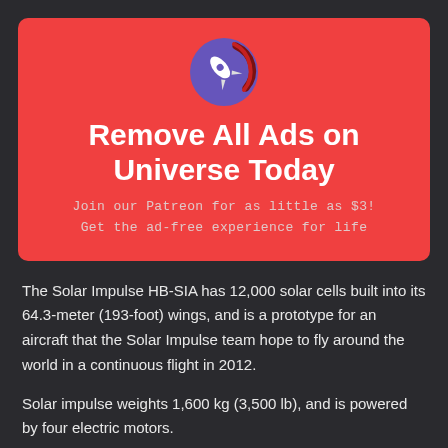[Figure (logo): Rocket logo — white rocket icon inside a purple circle with a dark red swoosh arc around it]
Remove All Ads on Universe Today
Join our Patreon for as little as $3!
Get the ad-free experience for life
The Solar Impulse HB-SIA has 12,000 solar cells built into its 64.3-meter (193-foot) wings, and is a prototype for an aircraft that the Solar Impulse team hope to fly around the world in a continuous flight in 2012.
Solar impulse weights 1,600 kg (3,500 lb), and is powered by four electric motors.